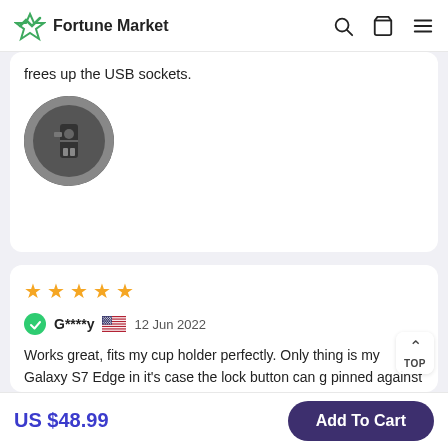Fortune Market
frees up the USB sockets.
[Figure (photo): Circular product photo showing a car charger or USB hub device from the top]
[Figure (other): 5-star rating]
G****y  12 Jun 2022
Works great, fits my cup holder perfectly. Only thing is my Galaxy S7 Edge in it's case the lock button can get pinned against the side. This doesn't happen with my wife's Pixel 3 with a case. So I believe when I move on to
US $48.99
Add To Cart